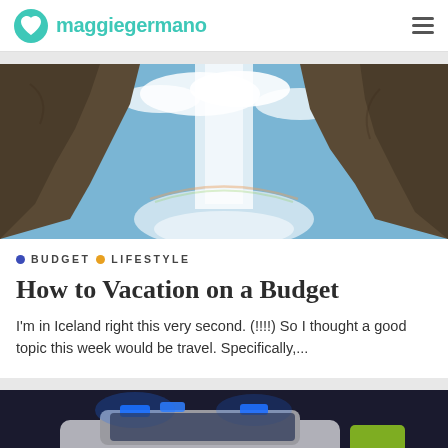maggie germano
[Figure (photo): A dramatic waterfall flowing between rocky canyon walls with mist and blue sky]
BUDGET  LIFESTYLE
How to Vacation on a Budget
I'm in Iceland right this very second. (!!!!) So I thought a good topic this week would be travel. Specifically,...
[Figure (photo): A police car at night with blue flashing lights]